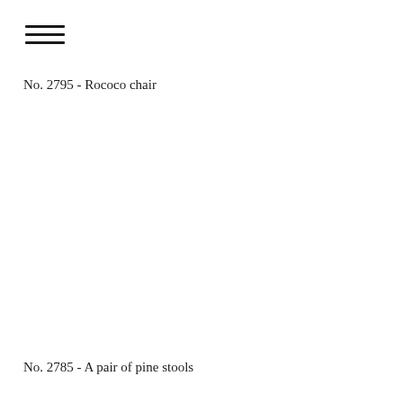[Figure (other): Hamburger menu icon with three horizontal lines]
No. 2795 - Rococo chair
No. 2785 - A pair of pine stools